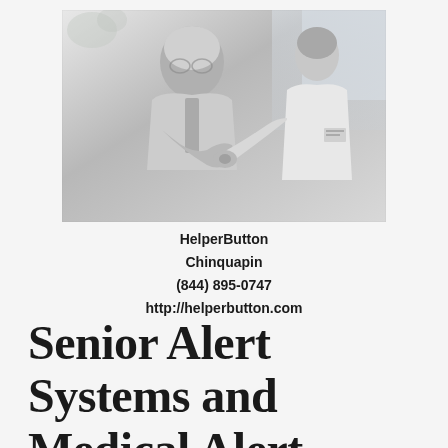[Figure (photo): Black and white photograph of an elderly person being assisted by a healthcare worker or nurse, examining something together, likely in a medical or care setting.]
HelperButton
Chinquapin
(844) 895-0747
http://helperbutton.com
Senior Alert Systems and Medical Alert Devices FAQ